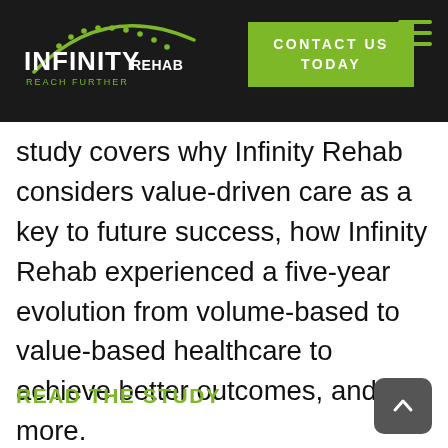[Figure (logo): Infinity Rehab logo with green arc and dots above text, tagline REACH FURTHER]
CONTACT US TODAY
study covers why Infinity Rehab considers value-driven care as a key to future success, how Infinity Rehab experienced a five-year evolution from volume-based to value-based healthcare to achieve better outcomes, and more.
READ THE STUDY